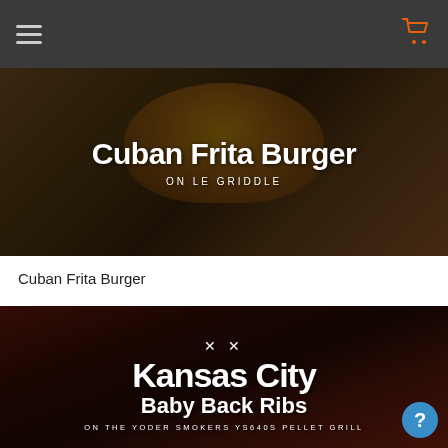[Figure (screenshot): Navigation bar with hamburger menu on left and orange shopping cart icon on right, dark gray background]
[Figure (photo): Photo of a Cuban Frita Burger being held in hands, with text overlay: 'Cuban Frita Burger' and 'ON LE GRIDDLE']
Cuban Frita Burger
[Figure (photo): Photo of Kansas City Baby Back Ribs, dark barbecued ribs on wooden board, with text overlay: crossed utensils icon, 'Kansas City', 'Baby Back Ribs', 'ON THE YODER SMOKERS YS640S PELLET GRILL']